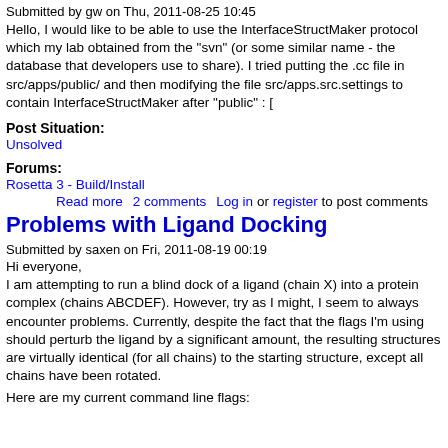Submitted by gw on Thu, 2011-08-25 10:45
Hello, I would like to be able to use the InterfaceStructMaker protocol which my lab obtained from the "svn" (or some similar name - the database that developers use to share). I tried putting the .cc file in src/apps/public/ and then modifying the file src/apps.src.settings to contain InterfaceStructMaker after "public" : [
Post Situation:
Unsolved
Forums:
Rosetta 3 - Build/Install
Read more    2 comments    Log in or register to post comments
Problems with Ligand Docking
Submitted by saxen on Fri, 2011-08-19 00:19
Hi everyone,
I am attempting to run a blind dock of a ligand (chain X) into a protein complex (chains ABCDEF). However, try as I might, I seem to always encounter problems. Currently, despite the fact that the flags I'm using should perturb the ligand by a significant amount, the resulting structures are virtually identical (for all chains) to the starting structure, except all chains have been rotated.
Here are my current command line flags: